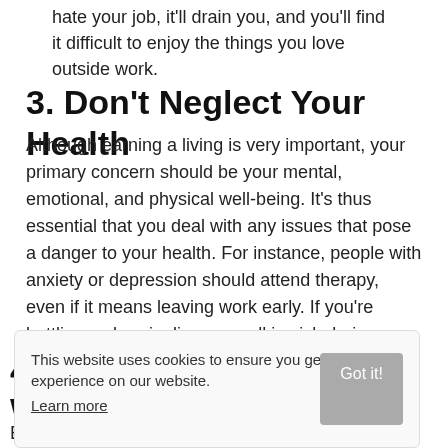hate your job, it'll drain you, and you'll find it difficult to enjoy the things you love outside work.
3. Don't Neglect Your Health
Although earning a living is very important, your primary concern should be your mental, emotional, and physical well-being. It's thus essential that you deal with any issues that pose a danger to your health. For instance, people with anxiety or depression should attend therapy, even if it means leaving work early. If you're battling a chronic disease, call in sick during tough days so you can recharge. Overworking oneself can take a toll on your health and ultimately make you an unproductive employee.
4. Set Boundaries and Work Hours
Boundaries are essential to avoid burnout. Once you're
This website uses cookies to ensure you get the best experience on our website. Learn more